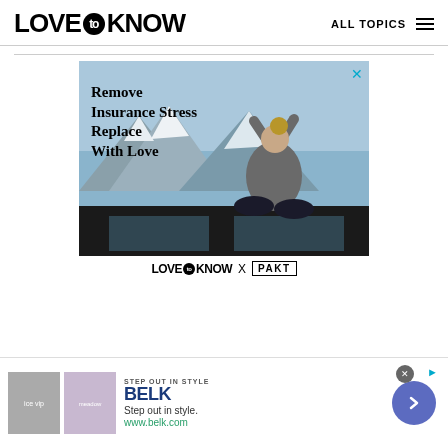LOVE to KNOW   ALL TOPICS
[Figure (photo): Advertisement showing a woman sitting on top of a car roof with arms raised, snowy mountains in background. Text overlay reads 'Remove Insurance Stress Replace With Love'. Close button (X) in top right corner.]
LOVE to KNOW X PAKT
[Figure (photo): Bottom advertisement banner for BELK. Shows 'STEP OUT IN STYLE' label, BELK brand name in dark blue, tagline 'Step out in style.', URL 'www.belk.com', two small product images on left, and a blue arrow button on right. Has X close button and AdChoices icon.]